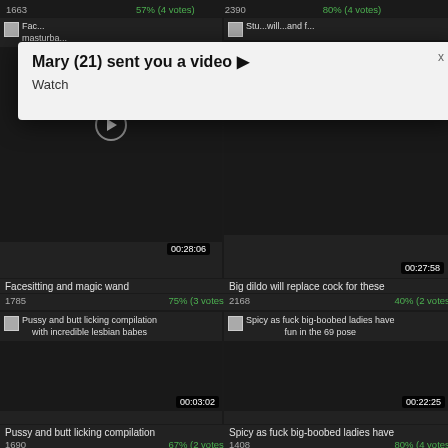1663   57% (4 votes)   2390   80% (4 votes)
[Figure (screenshot): Video thumbnail - Facesitting/masturbation content, partially visible]
[Figure (screenshot): Video thumbnail - partially visible, obscured by popup]
[Figure (infographic): Popup notification: Mary (21) sent you a video ► Watch]
00:28:06
00:27:58
Facesitting and magic wand
Big dildo will replace cock for these
1785   75% (3 votes)
2168   40% (2 votes)
[Figure (screenshot): Video thumbnail - Pussy and butt licking compilation with incredible lesbian babes]
[Figure (screenshot): Video thumbnail - Spicy as fuck big-boobed ladies have fun in the 69 pose]
00:03:02
00:22:25
Pussy and butt licking compilation
Spicy as fuck big-boobed ladies have
1690   67% (2 votes)
1408   80% (4 votes)
[Figure (screenshot): Video thumbnail - Lovely chicks are licking each other's pussy in the bathroom]
[Figure (screenshot): Video thumbnail - Nerdy Penny Pax is tongue fucking Kendra James]
00:11:21
00:06:01